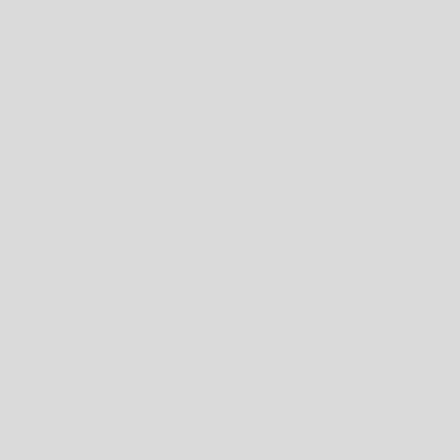Description:
10 GA. x 6' Used Cincinnati Hydraulic Power Shear, Mdl. 135HS x 6, Front Operated Programmable Digital Micro Computer, Back Gauge, (2) Front Supports, Auto Lube System, Electric Foot Pedal, Horsepower: 15, Material Length Selector, Dual Palm Control On Pedestal, #A6219
Please check it out here
https://www.sterlingmachinery.com/shears-new-used-metal-cutting-sale/used-cincinnati-hydraulic-power-shear-a6219-heavy-duty.html
To Buy or...  (More Info)
Populate this video to other places!
(URL)
https://www.machinerytube.com/video/Mjc3OQ==
(Embed this code in your desired page)
<div class="players" id="player-container"><video width="300" height="au
Brand:
Cincinnati, Inc
Tags:
Cincinnati Heavy Duty, Cincinnati Hydraulic Shear, Cincinnati Mechanical Power Shear , Cincinnati Mdl. 1252, Model 1252.
Cincinnati Shears, New, Shears, Used Shear, Metal Cutting Shear, Hydraulic Shear, Mechanical Shear, heavy-duty shear, Buy, Sell,
Trade, Dealer, Sterling Machinery, Dealer, Used, New, Metal Working Machines, Machine Tools, metalworking, metalwork, machinery,
metalworking machinery, metalworking machines, metalworking tools, machinery tools, machinery tool, machine tools, machine tool,